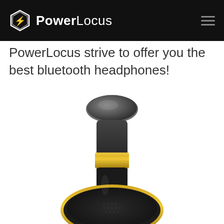PowerLocus
PowerLocus strive to offer you the best bluetooth headphones!
[Figure (photo): Close-up product photo of a PowerLocus black and gold Bluetooth headphone, showing the headband with a gold metallic accent band, the cushioned top section in dark grey, and part of the ear cup with a gold ring detail at the bottom. White background.]